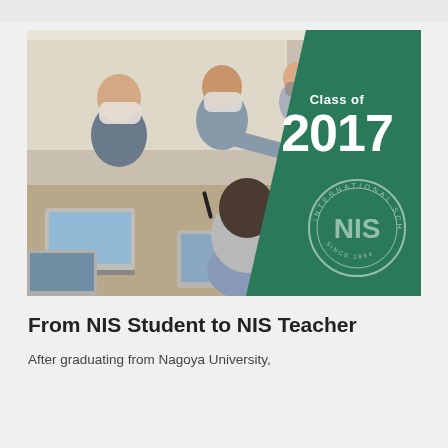[Figure (photo): Classroom scene showing students working on laptops with a teacher leaning over to help, all wearing face masks. Green triangular overlay in top-right with 'Class of 2017' text and NIS school seal/logo.]
From NIS Student to NIS Teacher
After graduating from Nagoya University,